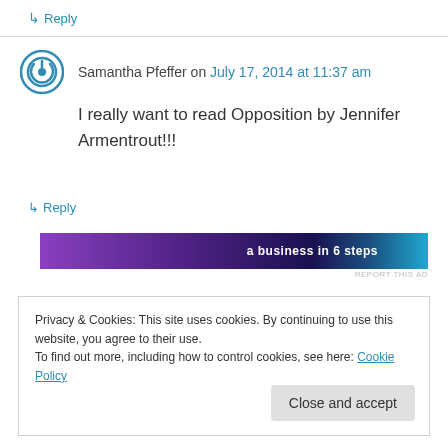↳ Reply
Samantha Pfeffer on July 17, 2014 at 11:37 am
I really want to read Opposition by Jennifer Armentrout!!!
↳ Reply
[Figure (other): Partial advertisement banner with purple/dark background and text 'a business in 6 steps']
REPORT THIS AD
Privacy & Cookies: This site uses cookies. By continuing to use this website, you agree to their use.
To find out more, including how to control cookies, see here: Cookie Policy
Close and accept